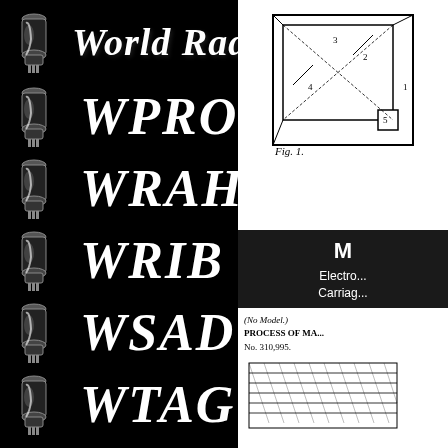World Radio Corp
WPRO
WRAH
WRIB
WSAD
WTAG
[Figure (engineering-diagram): Patent engineering diagram showing an electrical apparatus schematic, top view with component connections]
M
Electro... Carriag...
[Figure (engineering-diagram): Patent document showing '(No Model.) PROCESS OF MA... No. 310,995.' with a hatched/crosshatched material diagram below]